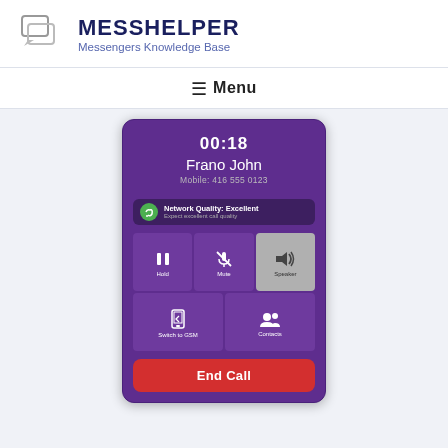MESSHELPER — Messengers Knowledge Base
≡ Menu
[Figure (screenshot): Viber call screen showing active call with Frano John, Mobile 416 555 0123, duration 00:18, Network Quality: Excellent, with Hold, Mute, Speaker (active), Switch to GSM, Contacts buttons, and End Call button]